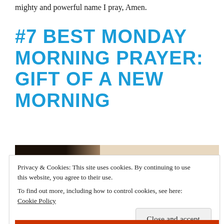mighty and powerful name I pray, Amen.
#7 BEST MONDAY MORNING PRAYER: GIFT OF A NEW MORNING
[Figure (photo): Close-up side profile of a person praying, silhouetted against a light background]
Privacy & Cookies: This site uses cookies. By continuing to use this website, you agree to their use.
To find out more, including how to control cookies, see here: Cookie Policy
Close and accept